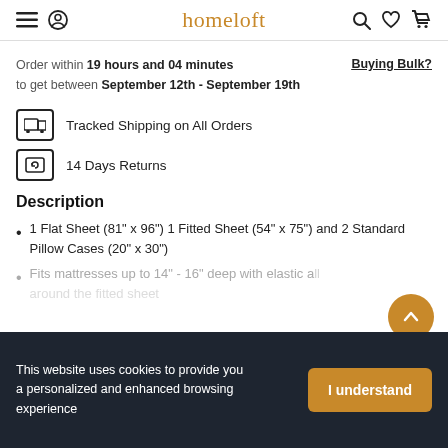homeloft
Order within 19 hours and 04 minutes to get between September 12th - September 19th
Buying Bulk?
Tracked Shipping on All Orders
14 Days Returns
Description
1 Flat Sheet (81" x 96") 1 Fitted Sheet (54" x 75") and 2 Standard Pillow Cases (20" x 30")
Fits mattresses up to 14" - 16" deep with elastic all around the fitted sheet
This website uses cookies to provide you a personalized and enhanced browsing experience